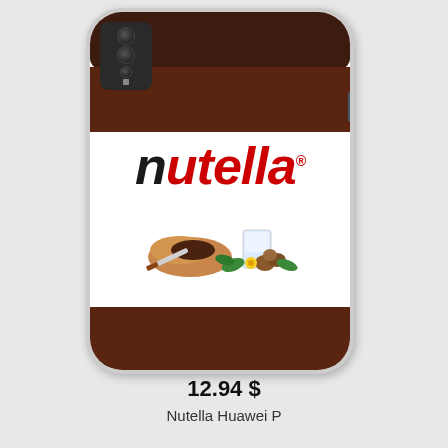[Figure (photo): Product listing photo of a Huawei P phone case with a Nutella jar design printed on it. The case shows a realistic Nutella jar with the brown cap at the top, the white label with the red 'nutella' logo, and food imagery including bread, chocolate spread, a glass of milk, and hazelnuts. The phone's quad camera array is visible in the top-left corner.]
12.94 $
Nutella Huawei P